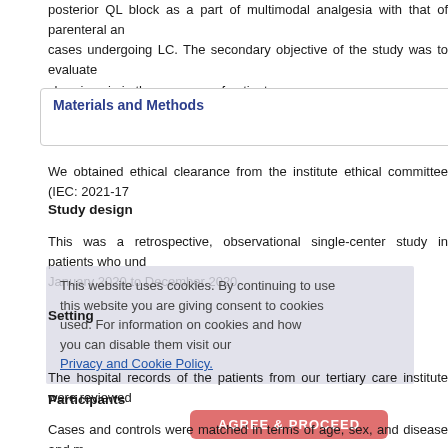posterior QL block as a part of multimodal analgesia with that of parenteral analgesia in cases undergoing LC. The secondary objective of the study was to evaluate the risk of chronic pain in these groups of patients.
Materials and Methods
We obtained ethical clearance from the institute ethical committee (IEC: 2021-17...
Study design
This was a retrospective, observational single-center study in patients who underwent January 2020 to December 2020.
Setting
The hospital records of the patients from our tertiary care institute were reviewed...
Participants
Cases and controls were matched in terms of age, sex, and disease and matching criteria which were patients of either gender, aged between 18 and 60 years undergoing belonged to American Society of Anesthesiologists physical status I, II with surgical...